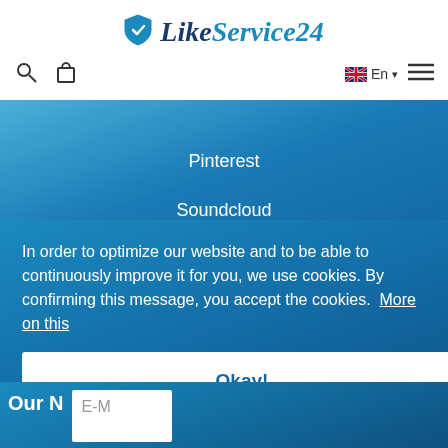[Figure (logo): LikeService24 logo with blue shield icon and dark blue/teal text]
[Figure (screenshot): Website navigation bar with search icon, bag icon, UK flag English language selector, and hamburger menu]
Pinterest
Soundcloud
Ebay
In order to optimize our website and to be able to continuously improve it for you, we use cookies. By confirming this message, you accept the cookies.  More on this
Okay!
Our N
E-M